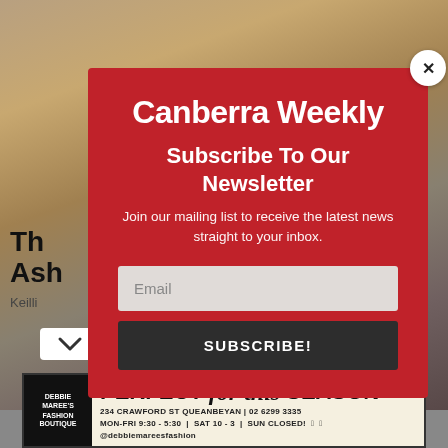[Figure (screenshot): Background photo of a room/desk scene with warm tones, partially visible behind the modal.]
Th
Ash
Keilli
[Figure (other): Canberra Weekly newsletter subscription modal popup with red background. Title: Canberra Weekly. Subheading: Subscribe To Our Newsletter. Body: Join our mailing list to receive the latest news straight to your inbox. Email input field. SUBSCRIBE! button. Close (X) button in top right corner.]
[Figure (other): Debbie Maree's Fashion Boutique advertisement banner. Text: PERFECT for this SEASON. 234 Crawford St Queanbeyan | 02 6299 3335. MON-FRI 9:30 - 5:30 | SAT 10 - 3 | SUN CLOSED! Facebook and Instagram icons @debbiemareesfashion]